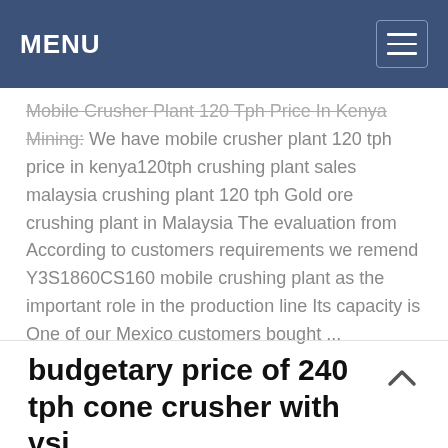MENU
Mobile Crusher Plant 120 Tph Price In Kenya Mining: We have mobile crusher plant 120 tph price in kenya120tph crushing plant sales malaysia crushing plant 120 tph Gold ore crushing plant in Malaysia The evaluation from According to customers requirements we remend Y3S1860CS160 mobile crushing plant as the important role in the production line Its capacity is One of our Mexico customers bought ...
budgetary price of 240 tph cone crusher with vsi
240 t ph ...    CAMAC b ...    150 t ...